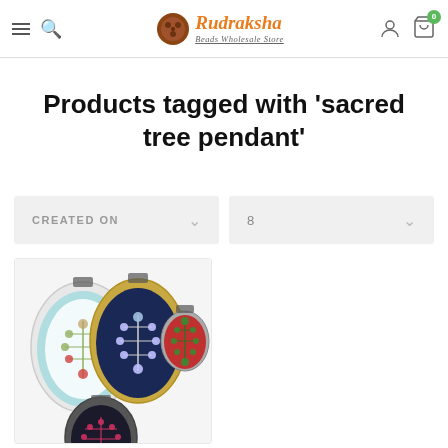Rudraksha Beads Wholesale Store — navigation header with hamburger menu, search icon, logo, user icon, cart (0)
Products tagged with 'sacred tree pendant'
CREATED ON (sort dropdown) | 8 (per-page dropdown)
[Figure (photo): Three oval sacred tree pendants (white/teal, navy blue, red) and one dark pendant partially visible — showing Tree of Life / Kabbalah designs in various colors with gemstones]